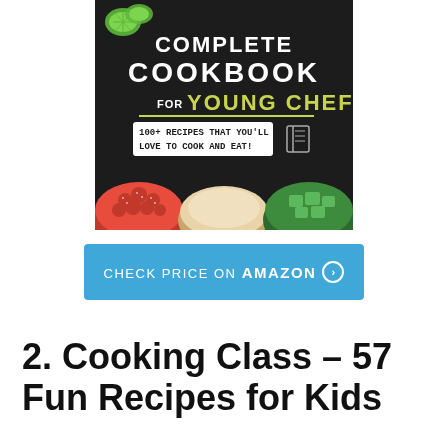[Figure (illustration): Book cover for 'The Complete Cookbook for Young Chefs' featuring dark chalkboard background with white and yellow-green text, lime slices, and bowls of food (strawberries, cream/hummus, avocado). Subtitle reads '100+ Recipes That You'll Love to Cook and Eat!']
CHECK PRICE ON AMAZON >
2. Cooking Class – 57 Fun Recipes for Kids